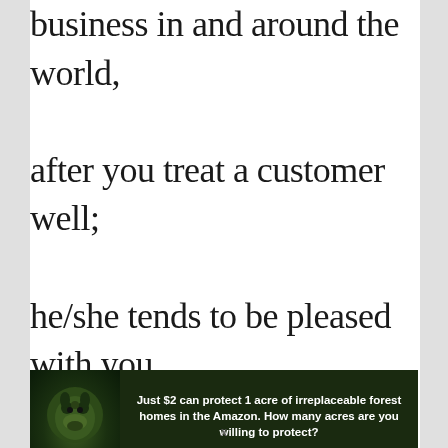business in and around the world, after you treat a customer well; he/she tends to be pleased with you, knowing that you simply value their presence in your business. This will make them to want to come around you and buy from you
[Figure (other): Advertisement banner with dark forest background and animal image. Text reads: 'Just $2 can protect 1 acre of irreplaceable forest homes in the Amazon. How many acres are you willing to protect?' with a green button 'PROTECT FORESTS NOW']
x